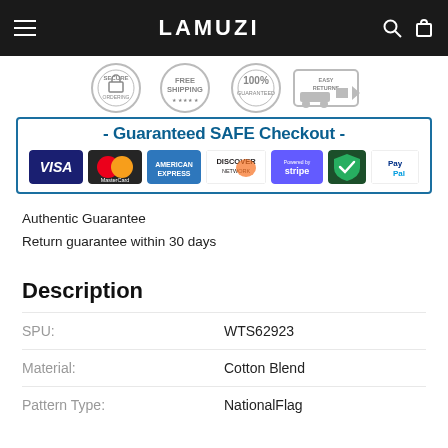LAMUZI
[Figure (infographic): Trust badges row: secure ordering lock badge, Free Shipping badge, 100% Guaranteed badge, Easy Returns truck badge]
[Figure (infographic): Guaranteed SAFE Checkout banner with payment icons: VISA, MasterCard, American Express, Discover Network, Stripe, AES-256 security shield, PayPal]
Authentic Guarantee
Return guarantee within 30 days
Description
| Field | Value |
| --- | --- |
| SPU: | WTS62923 |
| Material: | Cotton Blend |
| Pattern Type: | NationalFlag |